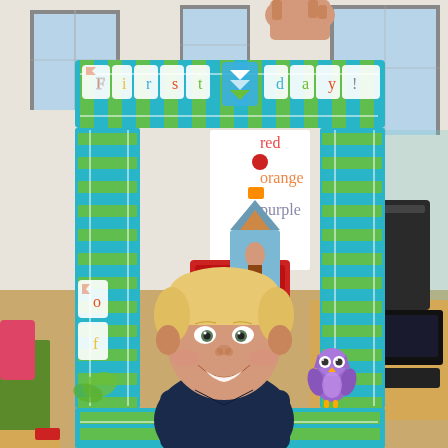[Figure (photo): A young blonde boy smiling, holding up a colorful 'First Day' photo booth frame made of cardboard decorated with teal/blue and green chevron stripes, cut-out letters spelling 'First Day', and an owl decoration. The scene is set in a classroom or playroom. An adult hand is visible at the top holding the frame.]